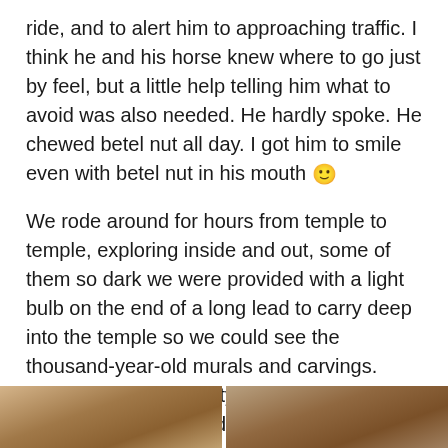ride, and to alert him to approaching traffic. I think he and his horse knew where to go just by feel, but a little help telling him what to avoid was also needed. He hardly spoke. He chewed betel nut all day. I got him to smile even with betel nut in his mouth 🙂
We rode around for hours from temple to temple, exploring inside and out, some of them so dark we were provided with a light bulb on the end of a long lead to carry deep into the temple so we could see the thousand-year-old murals and carvings. There was great variety in size, shape, architectural style, and materials, some white, some gray, most a wonderful rusty ochre, and even a pink one. A day-long exploration into another world that filled our senses with its grace and beauty.
[Figure (photo): Bottom portion of two photos side by side, partially visible at the bottom of the page. Left photo appears to show an outdoor scene with warm brown/ochre tones. Right photo also shows a similar outdoor/archaeological scene.]